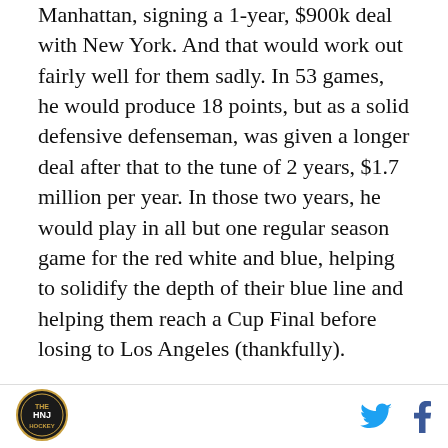Manhattan, signing a 1-year, $900k deal with New York. And that would work out fairly well for them sadly. In 53 games, he would produce 18 points, but as a solid defensive defenseman, was given a longer deal after that to the tune of 2 years, $1.7 million per year. In those two years, he would play in all but one regular season game for the red white and blue, helping to solidify the depth of their blue line and helping them reach a Cup Final before losing to Los Angeles (thankfully).
With the success he reached in Manhattan, Stralman would follow seemingly many of his former teammates and head down to Tampa. In the 2014 offseason, he would sign a 5 year, $22.5 million deal with them,
[Figure (logo): Hockey News logo circular emblem]
[Figure (other): Twitter and Facebook social media icons in footer]